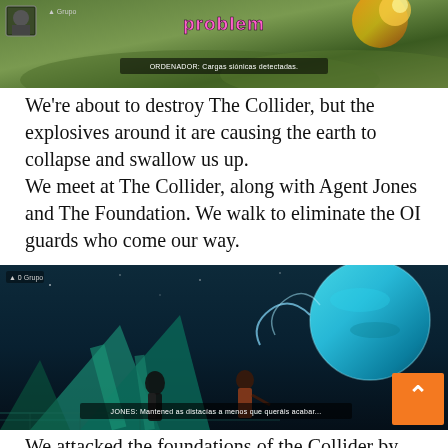[Figure (screenshot): Fortnite gameplay screenshot showing a battle scene with pink title text at top and HUD text 'ORDENADOR: Cargas siónicas detectadas.']
We're about to destroy The Collider, but the explosives around it are causing the earth to collapse and swallow us up.
We meet at The Collider, along with Agent Jones and The Foundation. We walk to eliminate the OI guards who come our way.
[Figure (screenshot): Fortnite gameplay screenshot showing characters at The Collider structure with a teal/green alien environment, a large planet visible, and subtitle text 'JONES: Mantened as distacías a menos que queráis acabar...']
We attacked the foundations of the Collider by land...